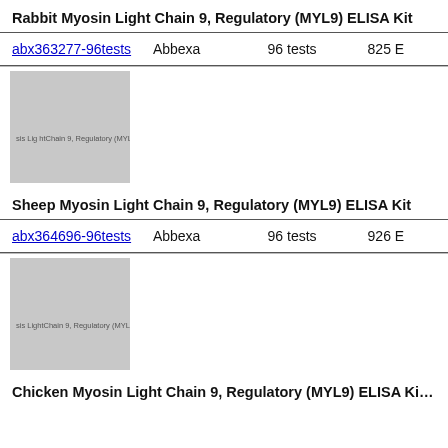Rabbit Myosin Light Chain 9, Regulatory (MYL9) ELISA Kit
| Product ID | Supplier | Size | Price |
| --- | --- | --- | --- |
| abx363277-96tests | Abbexa | 96 tests | 825 E… |
[Figure (photo): Product image placeholder for Rabbit Myosin Light Chain 9, Regulatory (MYL9) ELISA Kit]
Sheep Myosin Light Chain 9, Regulatory (MYL9) ELISA Kit
| Product ID | Supplier | Size | Price |
| --- | --- | --- | --- |
| abx364696-96tests | Abbexa | 96 tests | 926 E… |
[Figure (photo): Product image placeholder for Sheep Myosin Light Chain 9, Regulatory (MYL9) ELISA Kit]
Chicken Myosin Light Chain 9, Regulatory (MYL9) ELISA Kit